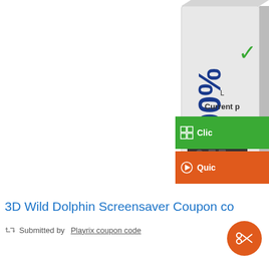[Figure (photo): Product box image showing '100%' text, partially cropped at top-right of page]
L
Current p
Click
Quic
3D Wild Dolphin Screensaver Coupon co
Submitted by Playrix coupon code